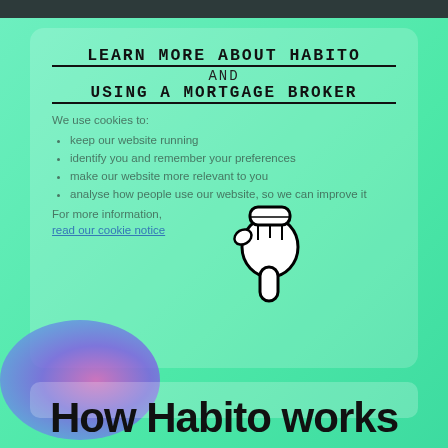LEARN MORE ABOUT HABITO
AND
USING A MORTGAGE BROKER
We use cookies to:
keep our website running
identify you and remember your preferences
make our website more relevant to you
analyse how people use our website, so we can improve it
For more information,
read our cookie notice
[Figure (illustration): Cartoon hand/glove pointing downward icon in black outline]
How Habito works